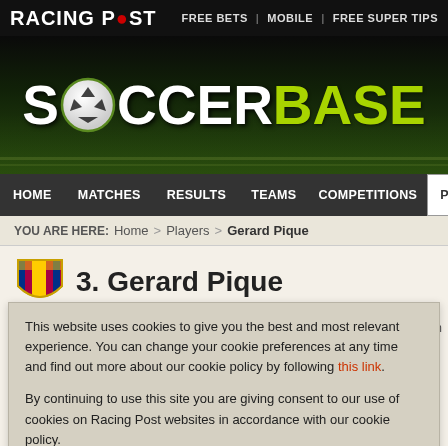RACING POST | FREE BETS | MOBILE | FREE SUPER TIPS
[Figure (logo): Soccerbase logo on dark soccer field background with soccer ball replacing the O]
HOME | MATCHES | RESULTS | TEAMS | COMPETITIONS | PLAYERS
YOU ARE HERE: Home > Players > Gerard Pique
3. Gerard Pique
This website uses cookies to give you the best and most relevant experience. You can change your cookie preferences at any time and find out more about our cookie policy by following this link. By continuing to use this site you are giving consent to our use of cookies on Racing Post websites in accordance with our cookie policy.
Close